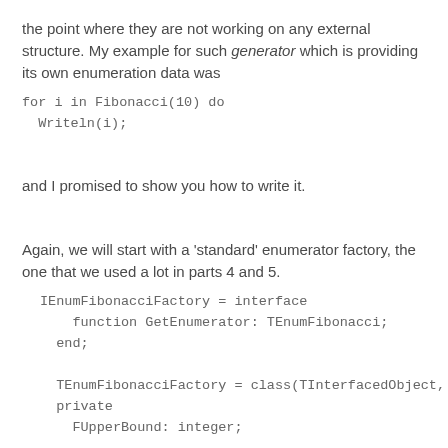the point where they are not working on any external structure. My example for such generator which is providing its own enumeration data was
for i in Fibonacci(10) do
  Writeln(i);
and I promised to show you how to write it.
Again, we will start with a 'standard' enumerator factory, the one that we used a lot in parts 4 and 5.
IEnumFibonacciFactory = interface
    function GetEnumerator: TEnumFibonacci;
  end;

  TEnumFibonacciFactory = class(TInterfacedObject, IEnumF
  private
    FUpperBound: integer;